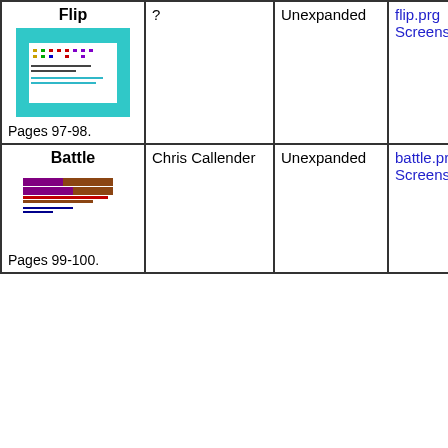| Flip
[screenshot]
Pages 97-98. | ? | Unexpanded | flip.prg
Screenshot |
| Battle
[screenshot]
Pages 99-100. | Chris Callender | Unexpanded | battle.prg
Screenshot |